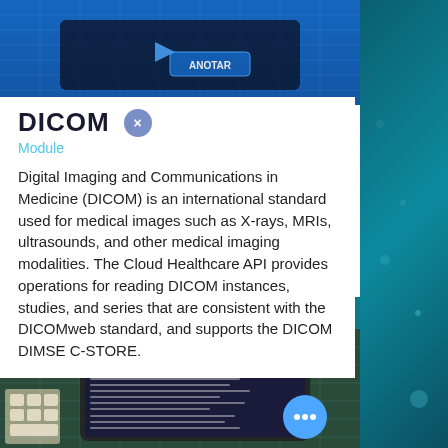[Figure (photo): Top photo showing a tablet/device with blue grid background and 'ANOTAR' button, dark overlay, partial view]
DICOM
Module
Digital Imaging and Communications in Medicine (DICOM) is an international standard used for medical images such as X-rays, MRIs, ultrasounds, and other medical imaging modalities. The Cloud Healthcare API provides operations for reading DICOM instances, studies, and series that are consistent with the DICOMweb standard, and supports the DICOM DIMSE C-STORE.
[Figure (photo): Bottom photo showing a tablet displaying a 'Contrato de Prestación de Servicios - Consentimiento Informado' document on a blue grid surface with a pencil, and a blue circle with three dots (menu button)]